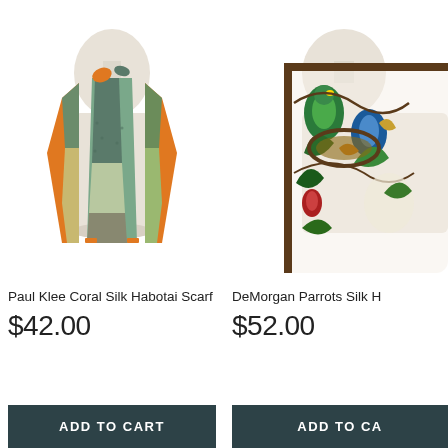[Figure (photo): Paul Klee Coral Silk Habotai Scarf draped on a white dress form mannequin. Scarf features geometric shapes in orange, teal, olive green, beige, and red tones.]
Paul Klee Coral Silk Habotai Scarf
$42.00
[Figure (photo): DeMorgan Parrots Silk scarf draped on a white dress form mannequin. Scarf features colorful parrot and botanical motifs in green, blue, red, yellow, brown on cream background.]
DeMorgan Parrots Silk H
$52.00
ADD TO CART
ADD TO CA